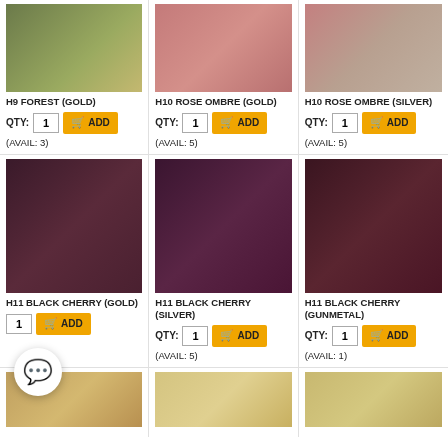[Figure (photo): Skein of olive/forest green yarn with gold sparkle]
H9 FOREST (GOLD)
QTY: 1  ADD
(AVAIL: 3)
[Figure (photo): Skein of rose/pink ombre yarn with gold sparkle]
H10 ROSE OMBRE (GOLD)
QTY: 1  ADD
(AVAIL: 5)
[Figure (photo): Skein of rose/pink ombre yarn with silver sparkle]
H10 ROSE OMBRE (SILVER)
QTY: 1  ADD
(AVAIL: 5)
[Figure (photo): Dark burgundy/black cherry yarn with gold beads/sequins]
H11 BLACK CHERRY (GOLD)
ADD
[Figure (photo): Dark burgundy/black cherry yarn with silver beads/sequins]
H11 BLACK CHERRY (SILVER)
QTY: 1  ADD
(AVAIL: 5)
[Figure (photo): Dark burgundy/black cherry yarn with gunmetal beads/sequins]
H11 BLACK CHERRY (GUNMETAL)
QTY: 1  ADD
(AVAIL: 1)